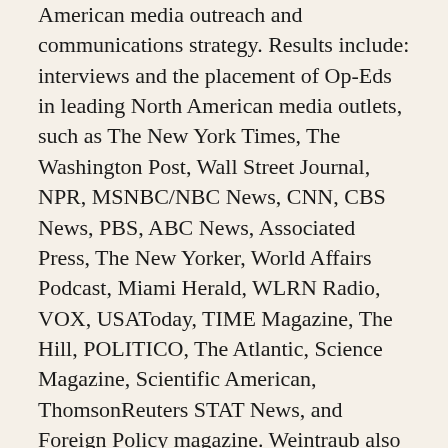American media outreach and communications strategy. Results include: interviews and the placement of Op-Eds in leading North American media outlets, such as The New York Times, The Washington Post, Wall Street Journal, NPR, MSNBC/NBC News, CNN, CBS News, PBS, ABC News, Associated Press, The New Yorker, World Affairs Podcast, Miami Herald, WLRN Radio, VOX, USAToday, TIME Magazine, The Hill, POLITICO, The Atlantic, Science Magazine, Scientific American, ThomsonReuters STAT News, and Foreign Policy magazine. Weintraub also assists Gavi's International Finance Facility for Immunisation with messaging and content creation.
GLOBAL PARTNERSHIP FOR EDUCATION is the